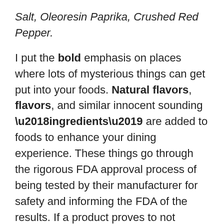Salt, Oleoresin Paprika, Crushed Red Pepper.
I put the bold emphasis on places where lots of mysterious things can get put into your foods. Natural flavors, flavors, and similar innocent sounding ‘ingredients’ are added to foods to enhance your dining experience. These things go through the rigorous FDA approval process of being tested by their manufacturer for safety and informing the FDA of the results. If a product proves to not actually be safe, as in the case of Trans Fats, then the poor results in the real world may sometimes result in the FDA removing the safe designation–sometimes as long as forty years later. (See Fats, Trans)
The Washington Post has a good article yesterday, “Getting rid of trans fats is a good move, but the nutrition battle isn’t over”. The article goes into the sorry state of